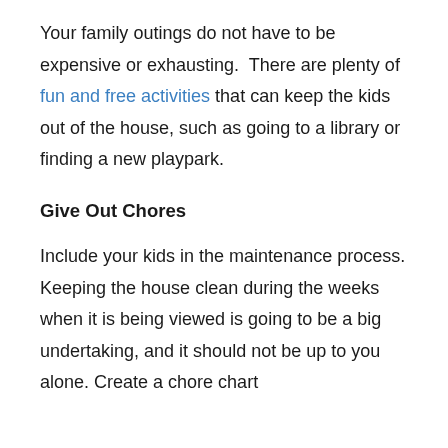Your family outings do not have to be expensive or exhausting. There are plenty of fun and free activities that can keep the kids out of the house, such as going to a library or finding a new playpark.
Give Out Chores
Include your kids in the maintenance process. Keeping the house clean during the weeks when it is being viewed is going to be a big undertaking, and it should not be up to you alone. Create a chore chart